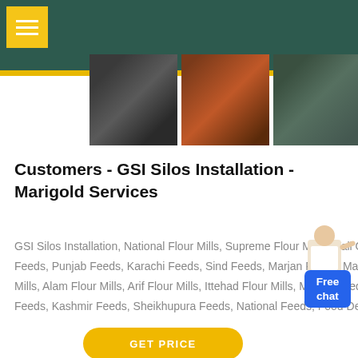[Figure (screenshot): Three industrial/machinery photos displayed in a horizontal strip against a dark teal header background]
Customers - GSI Silos Installation - Marigold Services
GSI Silos Installation, National Flour Mills, Supreme Flour Mills, Wali Oil Mills, Punjnad Feeds, Lahore Feeds, Punjab Feeds, Karachi Feeds, Sind Feeds, Marjan Feeds, Maqsood Flour Mills, Eitmad Flour Mills, Alam Flour Mills, Arif Flour Mills, Ittehad Flour Mills, Master Feeds, Dubai Feed Factory, Feroz Feeds, Kashmir Feeds, Sheikhupura Feeds, National Feeds, Food Department Govt of Punjab ...
[Figure (illustration): Blue Free chat widget with a woman figure pointing, appears in top right of content area]
GET PRICE